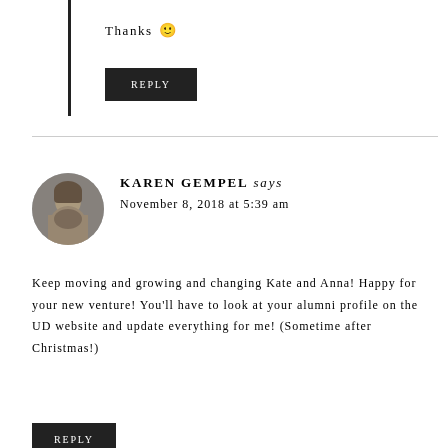Thanks 🙂
REPLY
KAREN GEMPEL says
November 8, 2018 at 5:39 am
Keep moving and growing and changing Kate and Anna! Happy for your new venture! You'll have to look at your alumni profile on the UD website and update everything for me! (Sometime after Christmas!)
REPLY